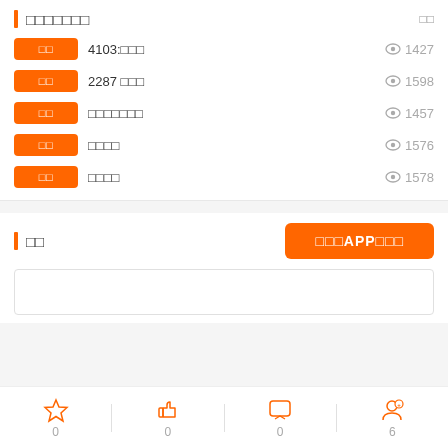□□□□□□□
□□  4103:□□□   👁 1427
□□  2287 □□□   👁 1598
□□  □□□□□□□   👁 1457
□□  □□□□   👁 1576
□□  □□□□   👁 1578
□□
□□□APP□□□
0  0  0  6